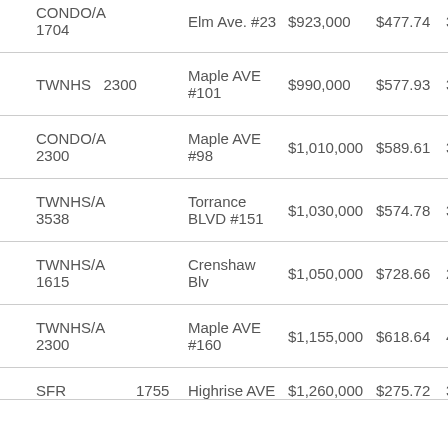| Type | SqFt | Address | Price | $/SqFt | Bd/Ba |
| --- | --- | --- | --- | --- | --- |
| CONDO/A | 1704 | Elm Ave. #23 | $923,000 | $477.74 | 3/2,1 |
| TWNHS | 2300 | Maple AVE #101 | $990,000 | $577.93 | 3/3,0,0 |
| CONDO/A | 2300 | Maple AVE #98 | $1,010,000 | $589.61 | 3/3,0,0 |
| TWNHS/A | 3538 | Torrance BLVD #151 | $1,030,000 | $574.78 | 3/3,0,0 |
| TWNHS/A | 1615 | Crenshaw Blv | $1,050,000 | $728.66 | 2/2,0,1 |
| TWNHS/A | 2300 | Maple AVE #160 | $1,155,000 | $618.64 | 4/3,0,0 |
| SFR | 1755 | Highrise AVE | $1,260,000 | $275.72 | 3/0,0 |